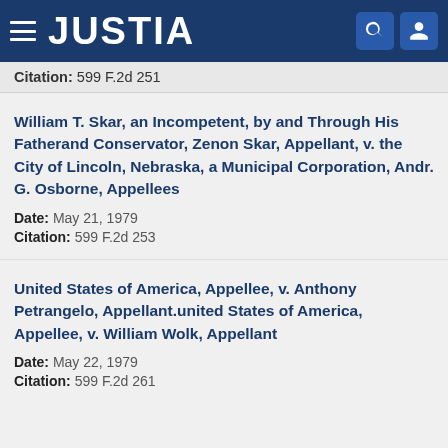JUSTIA
Citation: 599 F.2d 251
William T. Skar, an Incompetent, by and Through His Fatherand Conservator, Zenon Skar, Appellant, v. the City of Lincoln, Nebraska, a Municipal Corporation, Andr. G. Osborne, Appellees
Date: May 21, 1979
Citation: 599 F.2d 253
United States of America, Appellee, v. Anthony Petrangelo, Appellant.united States of America, Appellee, v. William Wolk, Appellant
Date: May 22, 1979
Citation: 599 F.2d 261